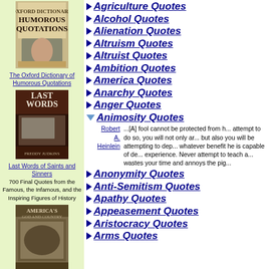[Figure (photo): Book cover: The Oxford Dictionary of Humorous Quotations]
The Oxford Dictionary of Humorous Quotations
[Figure (photo): Book cover: Last Words of Saints and Sinners]
Last Words of Saints and Sinners
700 Final Quotes from the Famous, the Infamous, and the Inspiring Figures of History
[Figure (photo): Book cover: America's God and Country: Encyclopedia of Quotations]
America's God and Country: Encyclopedia of Quotations
Contains over 2,100 profound quotations from founding fathers, presidents, constitutions, court decisions and more
Agriculture Quotes
Alcohol Quotes
Alienation Quotes
Altruism Quotes
Altruist Quotes
Ambition Quotes
America Quotes
Anarchy Quotes
Anger Quotes
Animosity Quotes
Robert A. Heinlein ...[A] fool cannot be protected from his folly. If you attempt to do so, you will not only arouse his animosity but also you will be attempting to deprive him of whatever benefit he is capable of deriving from experience. Never attempt to teach a pig to sing; it wastes your time and annoys the pig.
Anonymity Quotes
Anti-Semitism Quotes
Apathy Quotes
Appeasement Quotes
Aristocracy Quotes
Arms Quotes